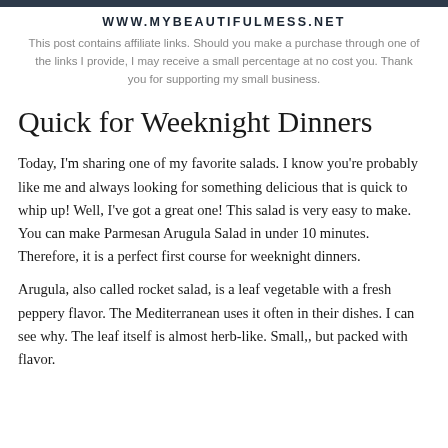WWW.MYBEAUTIFULMESS.NET
This post contains affiliate links. Should you make a purchase through one of the links I provide, I may receive a small percentage at no cost you. Thank you for supporting my small business.
Quick for Weeknight Dinners
Today, I'm sharing one of my favorite salads. I know you're probably like me and always looking for something delicious that is quick to whip up! Well, I've got a great one! This salad is very easy to make. You can make Parmesan Arugula Salad in under 10 minutes. Therefore, it is a perfect first course for weeknight dinners.
Arugula, also called rocket salad, is a leaf vegetable with a fresh peppery flavor. The Mediterranean uses it often in their dishes. I can see why. The leaf itself is almost herb-like. Small,, but packed with flavor.